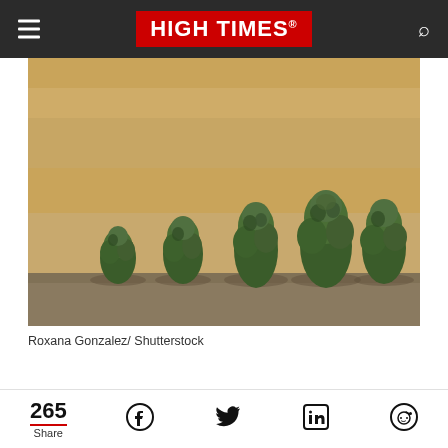HIGH TIMES
[Figure (photo): Five cannabis buds of varying sizes arranged in a row on a wooden surface, with a blurred golden field background.]
Roxana Gonzalez/ Shutterstock
Excerpt of article text (partially visible at bottom of page)